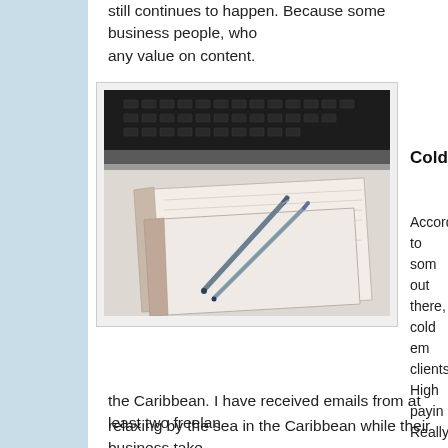still continues to happen. Because some business people, who any value on content.
[Figure (photo): Photo of two pens resting on open notebooks/notepads on a white desk, with a laptop keyboard visible in the background.]
Cold Emailing? D
According to som out there, cold em clients. High payin Really? But isn't g an invitation cons nowadays? I supp just depends. See you have to do is compose a craftily headline and bing come crawling ou Wouldn't that be g would end up in t deader than a do the freelance writi
the Caribbean. I have received emails from at least two freelan relaxing by the sea in the Caribbean while their business take